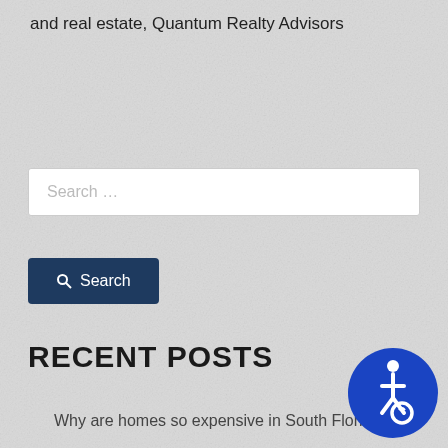and real estate, Quantum Realty Advisors
Search ...
Search
RECENT POSTS
Why are homes so expensive in South Florida
South Florida Commercial Office Market – Third Quarter 2020
Housing: How High Will It Go?
The Red Hot Housing Market
[Figure (illustration): Blue circular accessibility icon with wheelchair symbol]